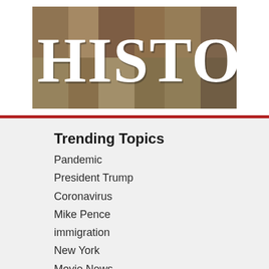[Figure (illustration): History magazine/website banner with the word HISTORY in large serif white text overlaid on a collage of historical portrait paintings and figures]
Trending Topics
Pandemic
President Trump
Coronavirus
Mike Pence
immigration
New York
Movie News
abortion
Christian persecution